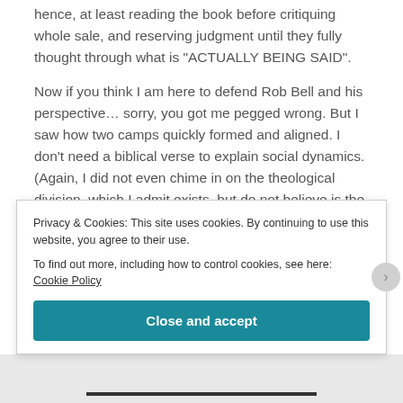hence, at least reading the book before critiquing whole sale, and reserving judgment until they fully thought through what is "ACTUALLY BEING SAID".
Now if you think I am here to defend Rob Bell and his perspective... sorry, you got me pegged wrong. But I saw how two camps quickly formed and aligned. I don't need a biblical verse to explain social dynamics. (Again, I did not even chime in on the theological division, which I admit exists, but do not believe is the main reason so much hype stirred up).
Privacy & Cookies: This site uses cookies. By continuing to use this website, you agree to their use.
To find out more, including how to control cookies, see here: Cookie Policy
Close and accept